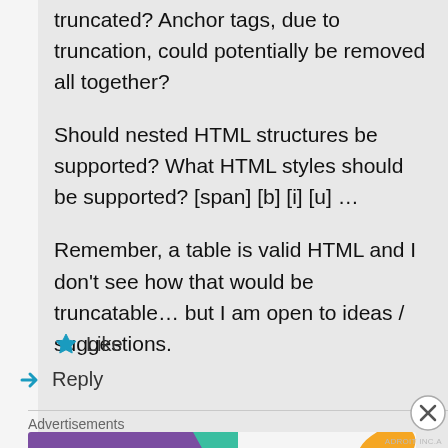truncated? Anchor tags, due to truncation, could potentially be removed all together?
Should nested HTML structures be supported? What HTML styles should be supported? [span] [b] [i] [u] …
Remember, a table is valid HTML and I don't see how that would be truncatable… but I am open to ideas / suggestions.
★ Like
↳ Reply
Advertisements
[Figure (illustration): WooCommerce advertisement banner: purple left side with WooCommerce logo and teal arrow, right side with orange and teal leaf shapes, text 'How to start selling subscriptions online']